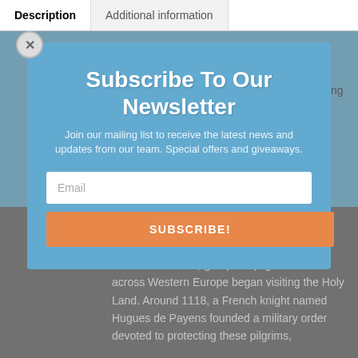Description
Additional information
Description
Blessed are the Peacemakers Poster featuring a Knights Templar with the cross on his blue plate and held a faded Blue to represent the Thin Blue Line and great Police Gift for any Police Officer or Police Supporter.
History of the Knights Templar
: After Christian fighters captured Jerusalem during the First Crusade, groups of pilgrims from across Western Europe began visiting the Holy Land. Around 1118, a French knight named Hugues de Payens founded a military order devoted to protecting these pilgrims,
Subscribe To Our Newsletter
Join our mailing list to receive the latest news and updates from our team. Special offers and giveaways.
Email
SUBSCRIBE!